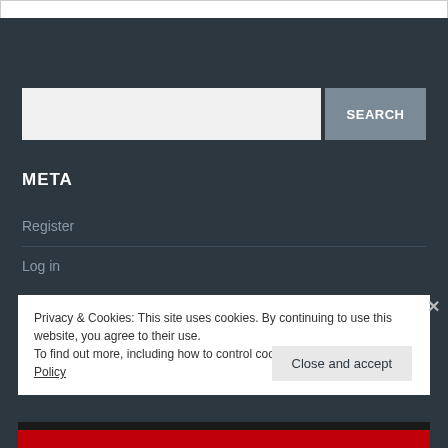[Figure (screenshot): White top bar of a web page]
[Figure (screenshot): Search box with SEARCH button on dark background]
META
Register
Log in
Privacy & Cookies: This site uses cookies. By continuing to use this website, you agree to their use.
To find out more, including how to control cookies, see here: Cookie Policy
Close and accept